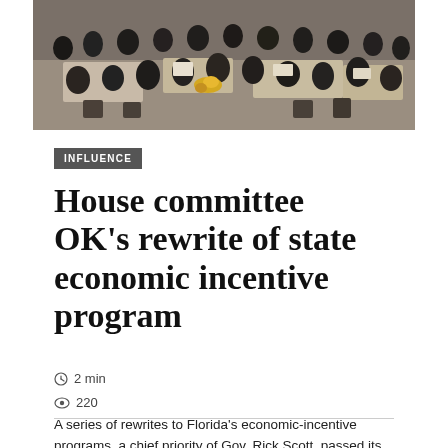[Figure (photo): Overhead view of a formal legislative or government committee meeting room, people in business attire seated and standing/applauding, viewed from above and behind.]
INFLUENCE
House committee OK's rewrite of state economic incentive program
2 min
220
A series of rewrites to Florida's economic-incentive programs, a chief priority of Gov. Rick Scott, passed its